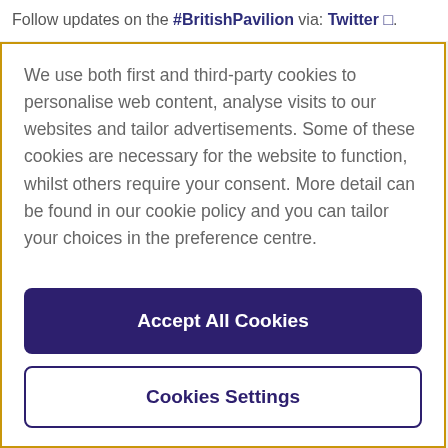Follow updates on the #BritishPavilion via: Twitter □.
We use both first and third-party cookies to personalise web content, analyse visits to our websites and tailor advertisements. Some of these cookies are necessary for the website to function, whilst others require your consent. More detail can be found in our cookie policy and you can tailor your choices in the preference centre.
Accept All Cookies
Cookies Settings